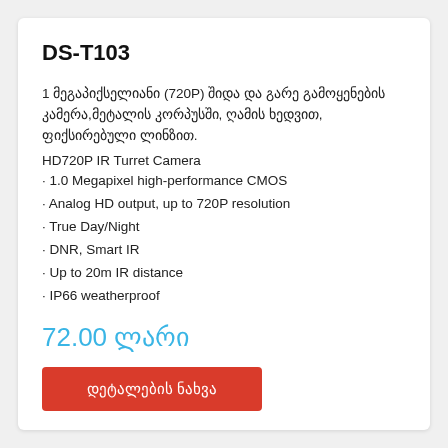DS-T103
1 მეგაპიქსელიანი (720P) შიდა და გარე გამოყენების კამერა,მეტალის კორპუსში, ღამის ხედვით, ფიქსირებული ლინზით.
HD720P IR Turret Camera
· 1.0 Megapixel high-performance CMOS
· Analog HD output, up to 720P resolution
· True Day/Night
· DNR, Smart IR
· Up to 20m IR distance
· IP66 weatherproof
72.00 ლარი
დეტალების ნახვა